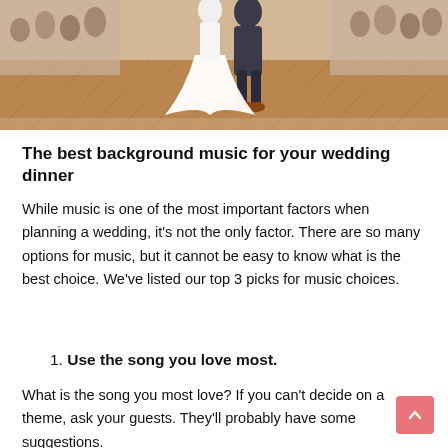[Figure (photo): Wedding photo showing bride and groom dancing on a herringbone wood parquet floor, with wedding guests visible in the background]
The best background music for your wedding dinner
While music is one of the most important factors when planning a wedding, it’s not the only factor. There are so many options for music, but it cannot be easy to know what is the best choice. We’ve listed our top 3 picks for music choices.
1. Use the song you love most.
What is the song you most love? If you can’t decide on a theme, ask your guests. They’ll probably have some suggestions.